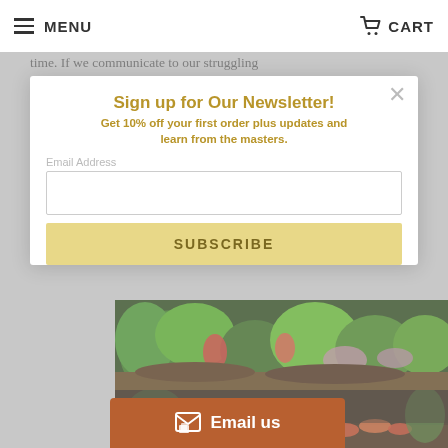MENU    CART
time. If we communicate to our struggling newbie friends that they should make it a point to learn from their mistakes, and to share their hard-won knowledge with other hobbyists in a gentle, supportive, but no B.S. way- the hobby will continue to be an amazing place where we get to live our our dreams every day!
Sign up for Our Newsletter!
Get 10% off your first order plus updates and learn from the masters.
Email Address
SUBSCRIBE
[Figure (photo): Terrarium with colorful tropical plants, bromeliads and ferns on rocky substrate]
[Figure (photo): Aquarium or vivarium with red/orange fish or shrimp on dark substrate]
Email us